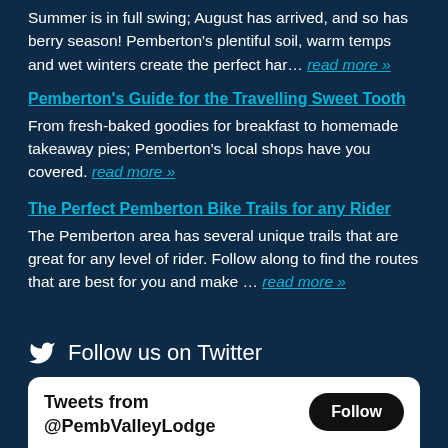Summer is in full swing; August has arrived, and so has berry season! Pemberton's plentiful soil, warm temps and wet winters create the perfect har… read more »
Pemberton's Guide for the Travelling Sweet Tooth
From fresh-baked goodies for breakfast to homemade takeaway pies; Pemberton's local shops have you covered. read more »
The Perfect Pemberton Bike Trails for any Rider
The Pemberton area has several unique trails that are great for any level of rider. Follow along to find the routes that are best for you and make … read more »
Follow us on Twitter
[Figure (screenshot): Twitter widget showing 'Tweets from @PembValleyLodge' with a Follow button and a tweet row with avatar, username PembertonVall... @PembVall... and timestamp 47h]